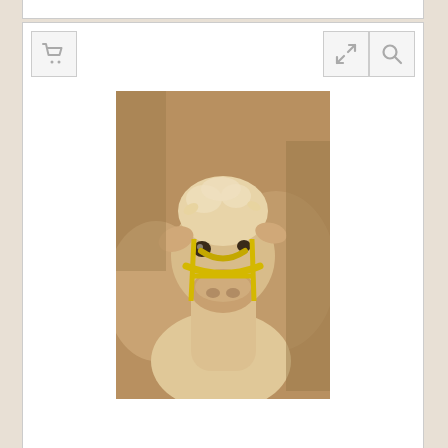[Figure (photo): Partial view of a white card/product listing panel at the very top of the page]
[Figure (screenshot): Product listing card with cart icon, expand icon, search icon toolbar buttons, and a photo of a young calf (veau) with a yellow halter among other cattle at an agricultural show]
Reference: TL01960
[Figure (screenshot): Second product listing card (partially visible) with same toolbar icons and a photo showing a French flag map decoration and a label tag at an agricultural event]